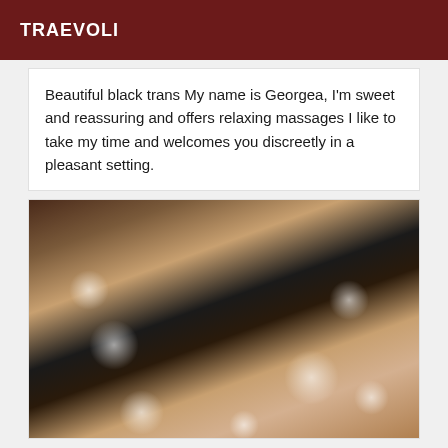TRAEVOLI
Beautiful black trans My name is Georgea, I'm sweet and reassuring and offers relaxing massages I like to take my time and welcomes you discreetly in a pleasant setting.
[Figure (photo): Close-up photo of a person wearing black lingerie, lying on a surface. The image shows the torso/lower body area with decorative light spots overlaid.]